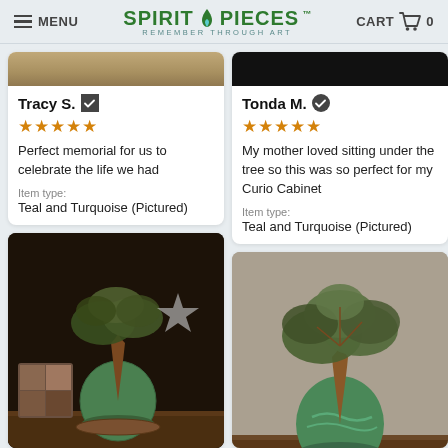MENU | SPIRIT PIECES - REMEMBER THROUGH ART | CART 0
[Figure (photo): Partial top of product photo - left column]
Tracy S. ✓
★★★★★
Perfect memorial for us to celebrate the life we had
Item type: Teal and Turquoise (Pictured)
[Figure (photo): Partial top of product photo - right column, dark background]
Tonda M. ✓
★★★★★
My mother loved sitting under the tree so this was so perfect for my Curio Cabinet
Item type: Teal and Turquoise (Pictured)
[Figure (photo): Wire tree sculpture with green gemstone base on wooden stand, with star decoration in background]
Rich M. ✓
[Figure (photo): Wire tree sculpture with teal/green gemstone base on wooden surface, grey background]